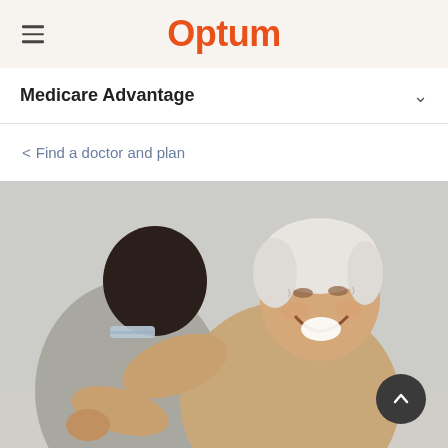Optum
Medicare Advantage
< Find a doctor and plan
[Figure (photo): An elderly person with white hair laughing joyfully while hugging someone, both embracing warmly. The background is a soft light grey. The scene conveys happiness and connection.]